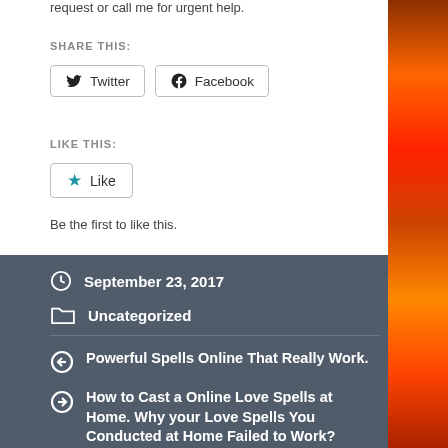request or call me for urgent help.
SHARE THIS:
Twitter  Facebook
LIKE THIS:
Like
Be the first to like this.
September 23, 2017
Uncategorized
Powerful Spells Online That Really Work.
How to Cast a Online Love Spells at Home. Why your Love Spells You Conducted at Home Failed to Work?